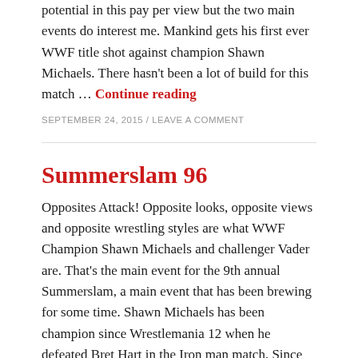potential in this pay per view but the two main events do interest me. Mankind gets his first ever WWF title shot against champion Shawn Michaels. There hasn't been a lot of build for this match … Continue reading
SEPTEMBER 24, 2015 / LEAVE A COMMENT
Summerslam 96
Opposites Attack! Opposite looks, opposite views and opposite wrestling styles are what WWF Champion Shawn Michaels and challenger Vader are. That's the main event for the 9th annual Summerslam, a main event that has been brewing for some time. Shawn Michaels has been champion since Wrestlemania 12 when he defeated Bret Hart in the Iron man match. Since then Vader has destroyed the competition, going … Continue reading